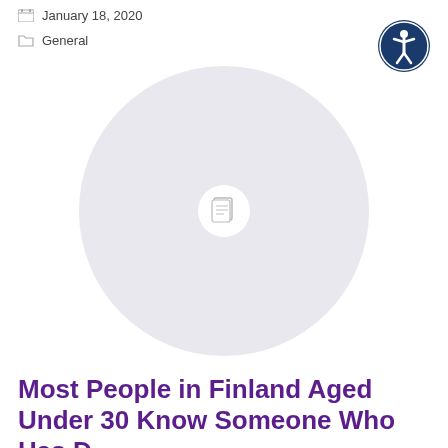January 18, 2020
General
[Figure (illustration): Accessibility icon button — dark blue circle with a white stylized human figure (universal accessibility symbol)]
[Figure (illustration): Large light grey placeholder circle with a white inner circle containing a grey document/page icon in the center]
Most People in Finland Aged Under 30 Know Someone Who Has D...